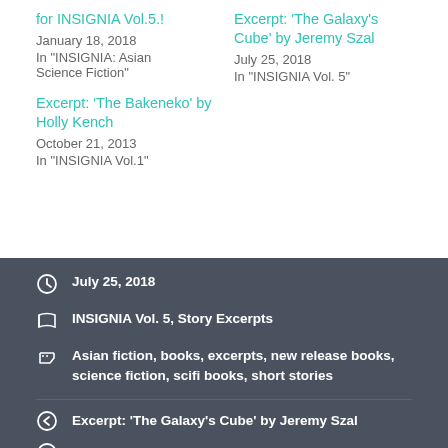for INSIGNIA Vol.5.!
January 18, 2018
In "INSIGNIA: Asian Science Fiction"
Excerpt: 'The Galaxy's Cube' by Jeremy Szal
July 25, 2018
In "INSIGNIA Vol. 5"
Excerpt: 'The Bakeneko' by Holly Kench
October 21, 2013
In "INSIGNIA Vol.1"
July 25, 2018
INSIGNIA Vol. 5, Story Excerpts
Asian fiction, books, excerpts, new release books, science fiction, scifi books, short stories
Excerpt: 'The Galaxy's Cube' by Jeremy Szal
Coming Soon! 'Insignia: Asian Birds & Beasts'